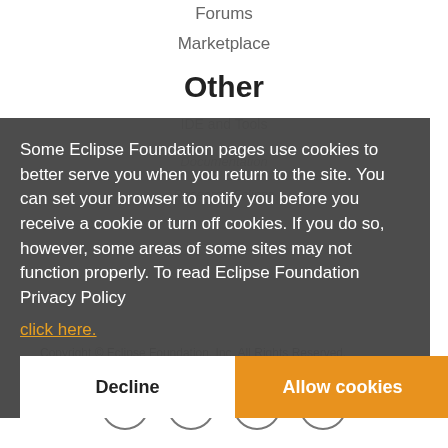Forums
Marketplace
Other
IDE and Tools
Some Eclipse Foundation pages use cookies to better serve you when you return to the site. You can set your browser to notify you before you receive a cookie or turn off cookies. If you do so, however, some areas of some sites may not function properly. To read Eclipse Foundation Privacy Policy click here.
Copyright © Eclipse Foundation, Inc. All Rights Reserved.